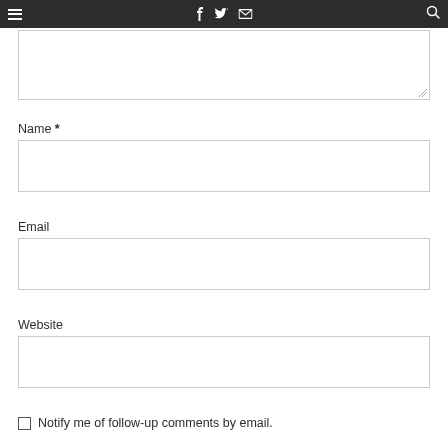≡   f  𝕏  ✉   🔍
Name *
Email
Website
Notify me of follow-up comments by email.